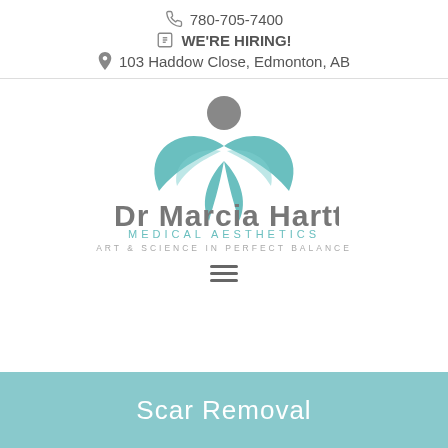780-705-7400  |  WE'RE HIRING!  |  103 Haddow Close, Edmonton, AB
[Figure (logo): Dr Marcia Hartt Medical Aesthetics logo — teal leaf/lotus figure with grey circular head above, grey bold text 'Dr Marcia Hartt', teal 'MEDICAL AESTHETICS', grey 'ART & SCIENCE IN PERFECT BALANCE']
Scar Removal